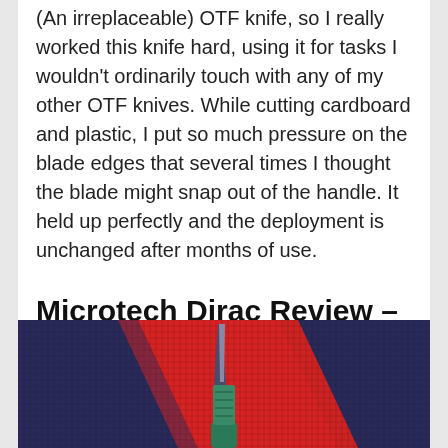(An irreplaceable) OTF knife, so I really worked this knife hard, using it for tasks I wouldn't ordinarily touch with any of my other OTF knives. While cutting cardboard and plastic, I put so much pressure on the blade edges that several times I thought the blade might snap out of the handle. It held up perfectly and the deployment is unchanged after months of use.
Microtech Dirac Review – Final Thoughts
[Figure (photo): A Microtech Dirac knife photographed on a colorful red and dark blue/purple mesh or grid background, showing the blade deployed upward and a teal/green handle visible at the bottom.]